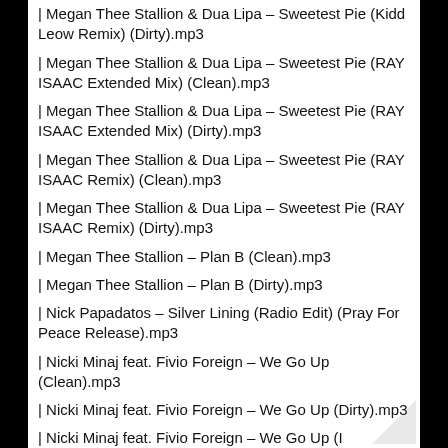| Megan Thee Stallion & Dua Lipa – Sweetest Pie (Kidd Leow Remix) (Dirty).mp3
| Megan Thee Stallion & Dua Lipa – Sweetest Pie (RAY ISAAC Extended Mix) (Clean).mp3
| Megan Thee Stallion & Dua Lipa – Sweetest Pie (RAY ISAAC Extended Mix) (Dirty).mp3
| Megan Thee Stallion & Dua Lipa – Sweetest Pie (RAY ISAAC Remix) (Clean).mp3
| Megan Thee Stallion & Dua Lipa – Sweetest Pie (RAY ISAAC Remix) (Dirty).mp3
| Megan Thee Stallion – Plan B (Clean).mp3
| Megan Thee Stallion – Plan B (Dirty).mp3
| Nick Papadatos – Silver Lining (Radio Edit) (Pray For Peace Release).mp3
| Nicki Minaj feat. Fivio Foreign – We Go Up (Clean).mp3
| Nicki Minaj feat. Fivio Foreign – We Go Up (Dirty).mp3
| Nicki Minaj feat. Fivio Foreign – We Go Up (Intro Version) (Clean).mp3